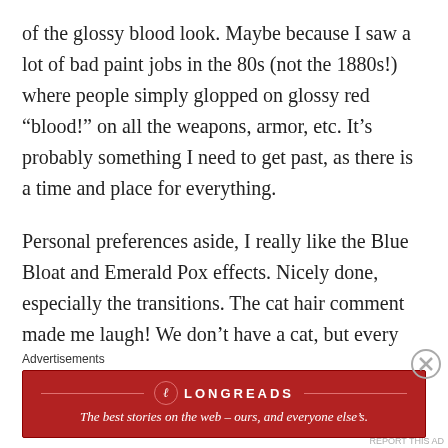of the glossy blood look. Maybe because I saw a lot of bad paint jobs in the 80s (not the 1880s!) where people simply glopped on glossy red “blood!” on all the weapons, armor, etc. It’s probably something I need to get past, as there is a time and place for everything.
Personal preferences aside, I really like the Blue Bloat and Emerald Pox effects. Nicely done, especially the transitions. The cat hair comment made me laugh! We don’t have a cat, but every now and then some lint will make it’s way onto the mini, which is equally vexing. Some furry
Advertisements
[Figure (other): Longreads advertisement banner. Red background with Longreads logo (L in circle) and text: The best stories on the web – ours, and everyone else’s.]